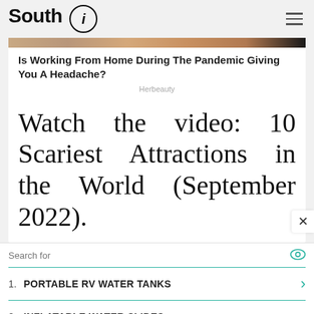South i
[Figure (photo): Partial view of a person or scene, cropped ad image strip at top of article card]
Is Working From Home During The Pandemic Giving You A Headache?
Herbeauty
Watch the video: 10 Scariest Attractions in the World (September 2022).
Search for
1. PORTABLE RV WATER TANKS
2. INFLATABLE WATER SLIDES
Yahoo! Search | Sponsored